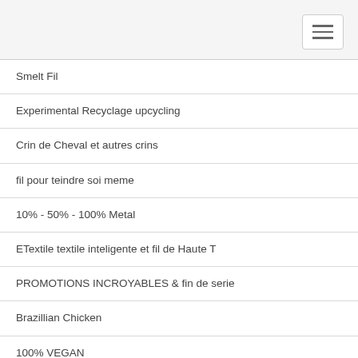Smelt Fil
Experimental Recyclage upcycling
Crin de Cheval et autres crins
fil pour teindre soi meme
10% - 50% - 100% Metal
ETextile textile inteligente et fil de Haute T
PROMOTIONS INCROYABLES & fin de serie
Brazillian Chicken
100% VEGAN
HAUTE COUTURE SPECIALS
LOUET metier a tisser